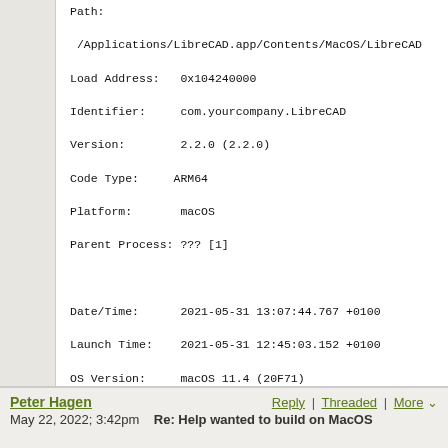Path:
 /Applications/LibreCAD.app/Contents/MacOS/LibreCAD
Load Address:   0x104240000
Identifier:     com.yourcompany.LibreCAD
Version:        2.2.0 (2.2.0)
Code Type:      ARM64
Platform:       macOS
Parent Process: ??? [1]

Date/Time:      2021-05-31 13:07:44.767 +0100
Launch Time:    2021-05-31 12:45:03.152 +0100
OS Version:     macOS 11.4 (20F71)
Report Version: 7
Analysis Tool:  /usr/bin/sample

Physical footprint:         85.9M
Physical footprint (peak):  90.6M

no issues seen so far

Thank you for this

Ian
Peter Hagen   Reply | Threaded | More   May 22, 2022; 3:42pm   Re: Help wanted to build on MacOS